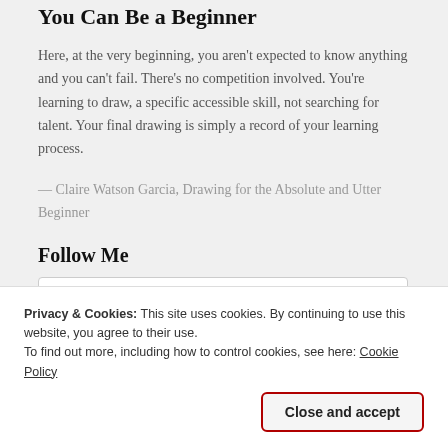You Can Be a Beginner
Here, at the very beginning, you aren't expected to know anything and you can't fail. There's no competition involved. You're learning to draw, a specific accessible skill, not searching for talent. Your final drawing is simply a record of your learning process.
— Claire Watson Garcia, Drawing for the Absolute and Utter Beginner
Follow Me
[Figure (other): Instagram and email/envelope icons in a white rounded box]
Privacy & Cookies: This site uses cookies. By continuing to use this website, you agree to their use.
To find out more, including how to control cookies, see here: Cookie Policy
Close and accept